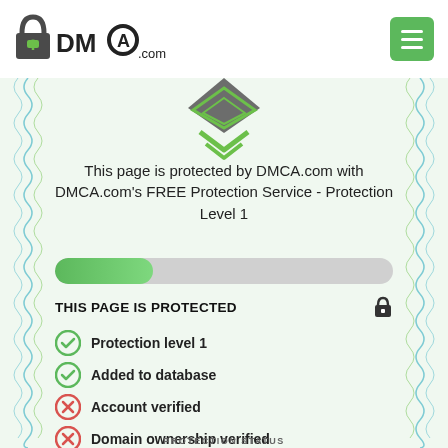[Figure (logo): DMCA.com logo with padlock icon]
This page is protected by DMCA.com with DMCA.com's FREE Protection Service - Protection Level 1
THIS PAGE IS PROTECTED
Protection level 1
Added to database
Account verified
Domain ownership verified